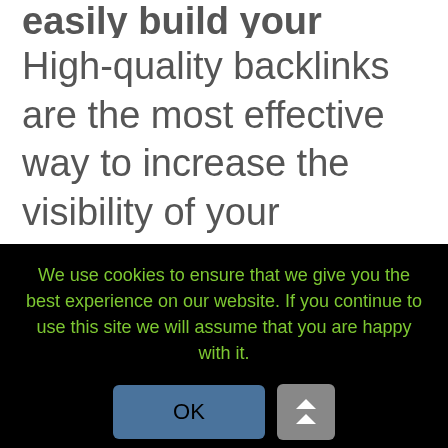easily build your backlinks.
High-quality backlinks are the most effective way to increase the visibility of your website. A good backlink should be well placed and clearly positioned. This way, it will generate traffic and contribute to the search index rankings. Manually compiled directories are
We use cookies to ensure that we give you the best experience on our website. If you continue to use this site we will assume that you are happy with it.